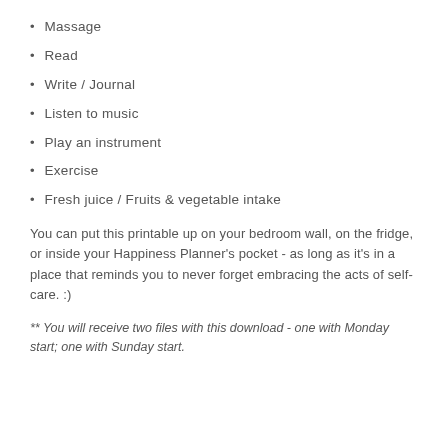Massage
Read
Write / Journal
Listen to music
Play an instrument
Exercise
Fresh juice / Fruits & vegetable intake
You can put this printable up on your bedroom wall, on the fridge, or inside your Happiness Planner's pocket - as long as it's in a place that reminds you to never forget embracing the acts of self-care. :)
** You will receive two files with this download - one with Monday start; one with Sunday start.